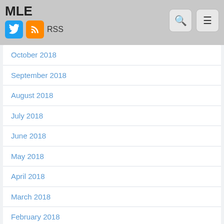MLE
October 2018
September 2018
August 2018
July 2018
June 2018
May 2018
April 2018
March 2018
February 2018
January 2018
December 2017
November 2017